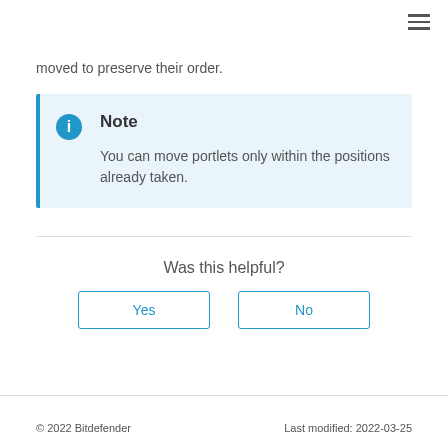moved to preserve their order.
Note
You can move portlets only within the positions already taken.
Was this helpful?
Yes
No
© 2022 Bitdefender      Last modified: 2022-03-25